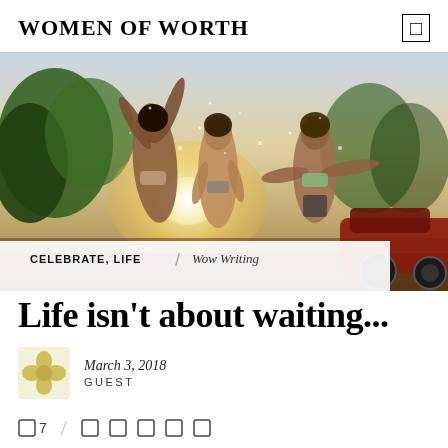WOMEN OF WORTH
[Figure (photo): Three women in swimwear playing in water spray outdoors with sunlight and trees in background, one near a red car]
CELEBRATE, LIFE / Wow Writing
Life isn't about waiting...
March 3, 2018
GUEST
7